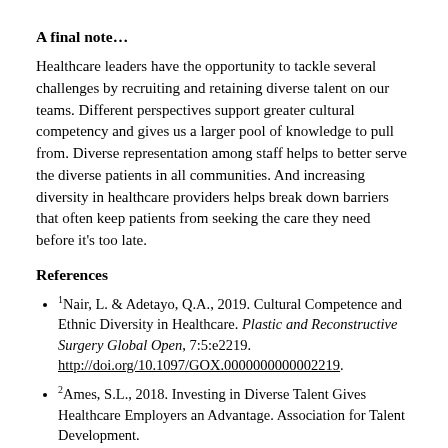A final note…
Healthcare leaders have the opportunity to tackle several challenges by recruiting and retaining diverse talent on our teams. Different perspectives support greater cultural competency and gives us a larger pool of knowledge to pull from. Diverse representation among staff helps to better serve the diverse patients in all communities. And increasing diversity in healthcare providers helps break down barriers that often keep patients from seeking the care they need before it's too late.
References
1Nair, L. & Adetayo, Q.A., 2019. Cultural Competence and Ethnic Diversity in Healthcare. Plastic and Reconstructive Surgery Global Open, 7:5:e2219. http://doi.org/10.1097/GOX.0000000000002219.
2Ames, S.L., 2018. Investing in Diverse Talent Gives Healthcare Employers an Advantage. Association for Talent Development. https://www.td.org/insights/investing-in-diverse-